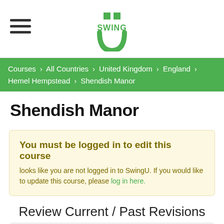[Figure (logo): SwingU logo - green U shape with SWING text and two green squares on top]
Courses > All Countries > United Kingdom > England > Hemel Hempstead > Shendish Manor
Shendish Manor
You must be logged in to edit this course
looks like you are not logged in to SwingU. If you would like to update this course, please log in here.
Review Current / Past Revisions
Open revisions
There are no open course revisions right now.